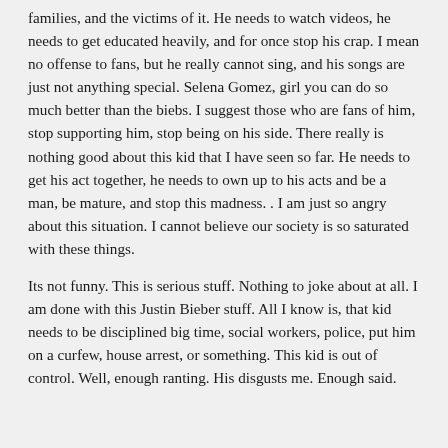families, and the victims of it. He needs to watch videos, he needs to get educated heavily, and for once stop his crap. I mean no offense to fans, but he really cannot sing, and his songs are just not anything special. Selena Gomez, girl you can do so much better than the biebs. I suggest those who are fans of him, stop supporting him, stop being on his side. There really is nothing good about this kid that I have seen so far. He needs to get his act together, he needs to own up to his acts and be a man, be mature, and stop this madness. . I am just so angry about this situation. I cannot believe our society is so saturated with these things.
Its not funny. This is serious stuff. Nothing to joke about at all. I am done with this Justin Bieber stuff. All I know is, that kid needs to be disciplined big time, social workers, police, put him on a curfew, house arrest, or something. This kid is out of control. Well, enough ranting. His disgusts me. Enough said.